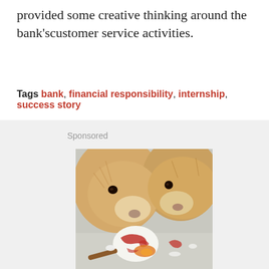provided some creative thinking around the bank'scustomer service activities.
Tags bank, financial responsibility, internship, success story
[Figure (photo): Two golden retriever puppies eating or sniffing a cracked egg with red dye on a white surface, with a stick visible in the lower left corner. Labeled as 'Sponsored' content.]